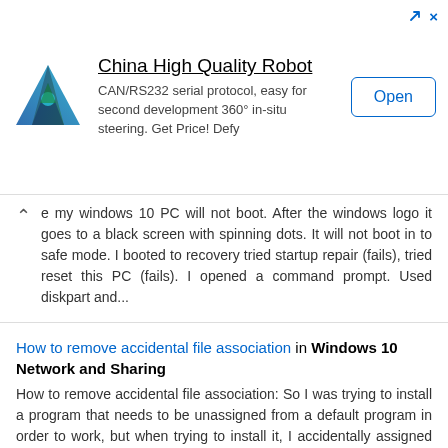[Figure (screenshot): Advertisement banner for 'China High Quality Robot' with a blue geometric triangle logo, product description 'CAN/RS232 serial protocol, easy for second development 360° in-situ steering. Get Price! Defy', and an 'Open' button. Navigation arrow and X icons in top right corner.]
e my windows 10 PC will not boot. After the windows logo it goes to a black screen with spinning dots. It will not boot in to safe mode. I booted to recovery tried startup repair (fails), tried reset this PC (fails). I opened a command prompt. Used diskpart and...
How to remove accidental file association in Windows 10 Network and Sharing
How to remove accidental file association: So I was trying to install a program that needs to be unassigned from a default program in order to work, but when trying to install it, I accidentally assigned .jar files to always open in Adobe Acrobat. I can figure out how to change which program opens the file, but I...
Drive data recovery and drive letter in Windows 10 Installation and Upgrade
Drive data recovery and drive letter: My question is that can "A change in drive letter" may affect data recovery process? Actually i made a reset on my windows 10 pc. Accidentally my all data